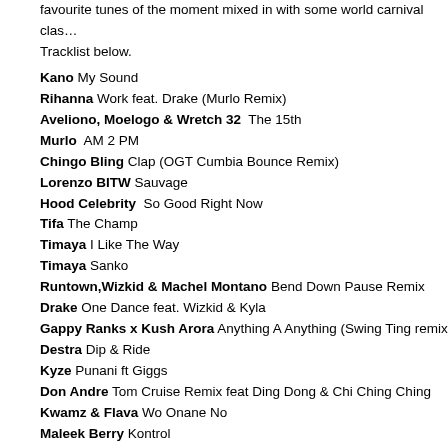favourite tunes of the moment mixed in with some world carnival classics. Tracklist below.
Kano My Sound
Rihanna Work feat. Drake (Murlo Remix)
Aveliono, Moelogo & Wretch 32  The 15th
Murlo  AM 2 PM
Chingo Bling Clap (OGT Cumbia Bounce Remix)
Lorenzo BITW Sauvage
Hood Celebrity  So Good Right Now
Tifa The Champ
Timaya I Like The Way
Timaya Sanko
Runtown,Wizkid & Machel Montano Bend Down Pause Remix
Drake One Dance feat. Wizkid & Kyla
Gappy Ranks x Kush Arora Anything A Anything (Swing Ting remix)
Destra Dip & Ride
Kyze Punani ft Giggs
Don Andre Tom Cruise Remix feat Ding Dong & Chi Ching Ching
Kwamz & Flava Wo Onane No
Maleek Berry Kontrol
Fox Heart & Soul Riddim (HDD Dubplate)
Drake Too Good feat. Rihanna
False Witness Crystal X Cuffaro